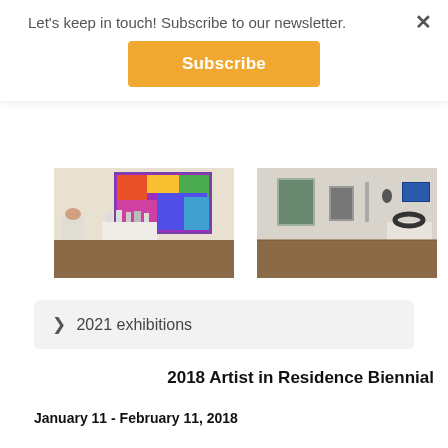Let's keep in touch! Subscribe to our newsletter.
Subscribe
[Figure (photo): Gallery interior with colorful abstract painting on wall and white sculptural objects on pedestals]
[Figure (photo): Gallery interior with artworks on walls including framed pieces and a monitor, and a dark ring sculpture on a pedestal]
> 2021 exhibitions
2018 Artist in Residence Biennial
January 11 - February 11, 2018